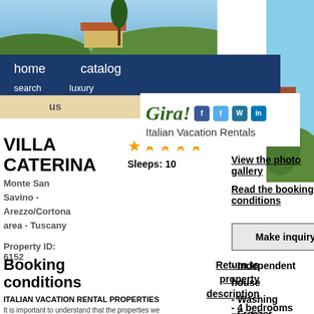[Figure (photo): Landscape photo showing Italian villa with trees and hills]
home   catalog   search   luxury
[Figure (logo): Gira! Italian Vacation Rentals logo with social media icons]
VILLA CATERINA
★★★★★
Sleeps: 10
Monte San Savino - Arezzo/Cortona area - Tuscany
Property ID: 6152
View the photo gallery
Read the booking conditions
[Figure (map): Map of Italy showing regions]
Make inquiry or reservation
Booking conditions
Return to property description
- Independent house
- Washing machine
- Swimming pool
- 4 bedrooms
- 4 baths
- Freezer
See approximate location
ITALIAN VACATION RENTAL PROPERTIES
It is important to understand that the properties we offer are not official tourist accommodations, such as hotels and resorts, but private houses owned by individuals. Being such, they do not have standards or categories that are internationally